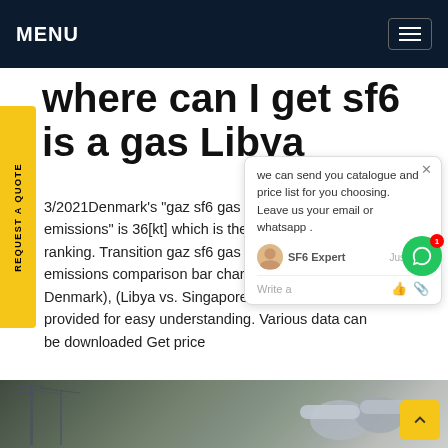MENU
where can I get sf6 is a gas Libya
3/2021Denmark's "gaz sf6 gas (sulfur hexafluoride) emissions" is 36[kt] which is the highest in the world ranking. Transition gaz sf6 gas (sulfur hexafluoride) emissions comparison bar charts (USA vs. Japan vs. Denmark), (Libya vs. Singapore vs. Denmark) are provided for easy understanding. Various data can be downloaded Get price
[Figure (screenshot): Chat popup widget showing message: 'we can send you catalogue and price list for you choosing. Leave us your email or whatsapp.' with SF6 Expert label and 'just now' timestamp, write field and icons below.]
[Figure (photo): Industrial electrical substation with high voltage equipment and pipes/insulators visible at bottom of page.]